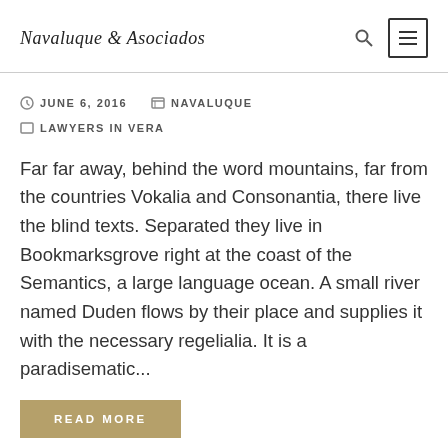Navaluque & Asociados
JUNE 6, 2016   NAVALUQUE   LAWYERS IN VERA
Far far away, behind the word mountains, far from the countries Vokalia and Consonantia, there live the blind texts. Separated they live in Bookmarksgrove right at the coast of the Semantics, a large language ocean. A small river named Duden flows by their place and supplies it with the necessary regelialia. It is a paradisematic...
READ MORE